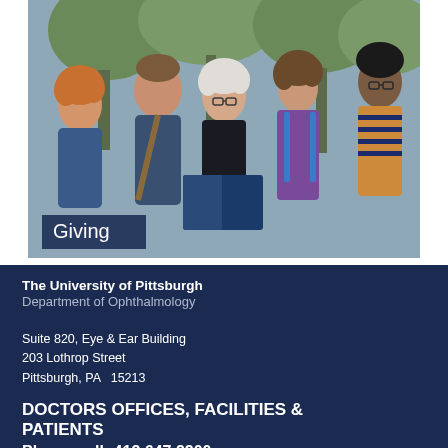[Figure (photo): Group of diverse adults standing together outdoors, smiling and looking at a book/document. Trees visible in background.]
Giving
The University of Pittsburgh
Department of Ophthalmology
Suite 820, Eye & Ear Building
203 Lothrop Street
Pittsburgh, PA  15213
DOCTORS OFFICES, FACILITIES & PATIENTS
Please call: 412.647.2200